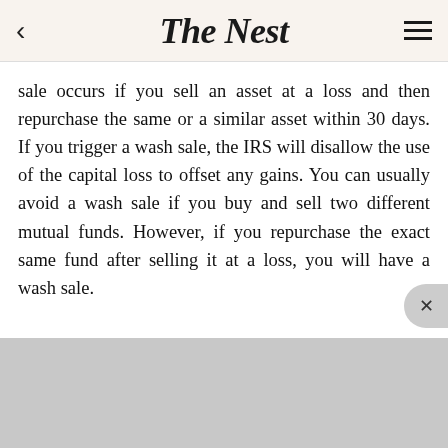The Nest
sale occurs if you sell an asset at a loss and then repurchase the same or a similar asset within 30 days. If you trigger a wash sale, the IRS will disallow the use of the capital loss to offset any gains. You can usually avoid a wash sale if you buy and sell two different mutual funds. However, if you repurchase the exact same fund after selling it at a loss, you will have a wash sale.